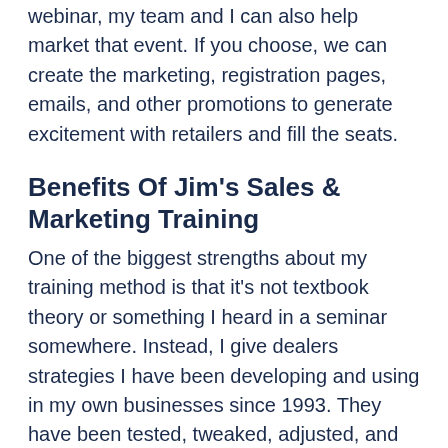webinar, my team and I can also help market that event. If you choose, we can create the marketing, registration pages, emails, and other promotions to generate excitement with retailers and fill the seats.
Benefits Of Jim's Sales & Marketing Training
One of the biggest strengths about my training method is that it's not textbook theory or something I heard in a seminar somewhere. Instead, I give dealers strategies I have been developing and using in my own businesses since 1993. They have been tested, tweaked, adjusted, and proven in hundreds of real-world flooring businesses from across the U.S. and Canada. Retailers walk away from my sessions